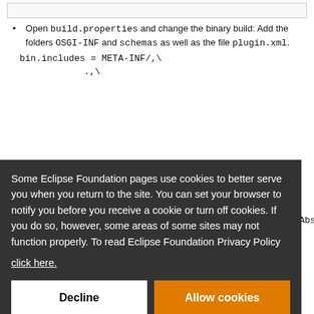Open build.properties and change the binary build: Add the folders OSGI-INF and schemas as well as the file plugin.xml.
bin.includes = META-INF/,\
                .,\
Some Eclipse Foundation pages use cookies to better serve you when you return to the site. You can set your browser to notify you before you receive a cookie or turn off cookies. If you do so, however, some areas of some sites may not function properly. To read Eclipse Foundation Privacy Policy click here.
Decline   Allow cookies
myplugin.crawler.mock.test.